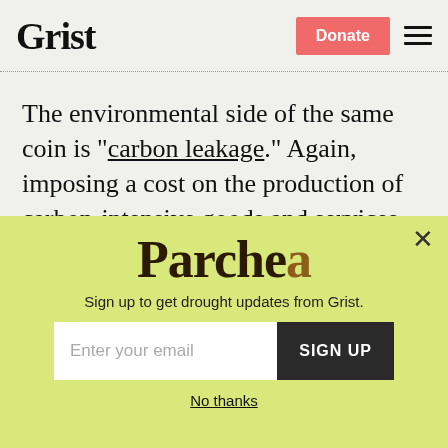Grist | Donate
The environmental side of the same coin is “carbon leakage.” Again, imposing a cost on the production of carbon-intensive goods and services shifts comparative advantage in the production of those same goods and services in the direction of countries not
[Figure (other): Parched newsletter signup modal with yellow-green background, Parched title, email input and SIGN UP button, and No thanks link]
Sign up to get drought updates from Grist.
No thanks